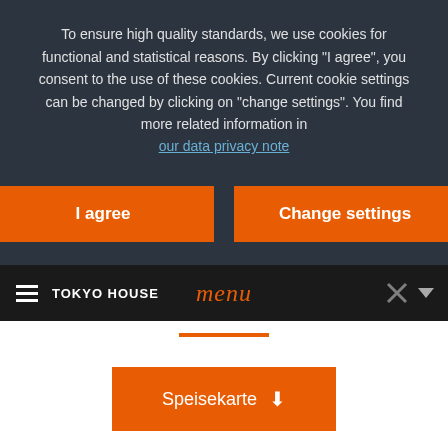To ensure high quality standards, we use cookies for functional and statistical reasons. By clicking "I agree", you consent to the use of these cookies. Current cookie settings can be changed by clicking on "change settings". You find more related information in
our data privacy note
I agree
Change settings
TOKYO HOUSE
menu
Speisekarte ⬇